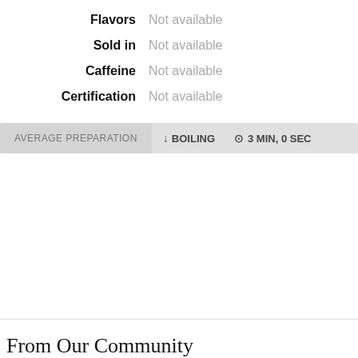| Label | Value |
| --- | --- |
| Flavors | Not available |
| Sold in | Not available |
| Caffeine | Not available |
| Certification | Not available |
AVERAGE PREPARATION   ↓ BOILING   ⊙ 3 MIN, 0 SEC
From Our Community